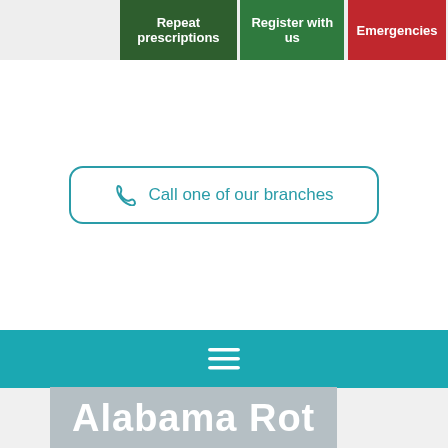Repeat prescriptions | Register with us | Emergencies
[Figure (other): Call one of our branches button with phone icon, teal outlined rounded rectangle]
[Figure (other): Teal navigation menu bar with hamburger icon]
Alabama Rot